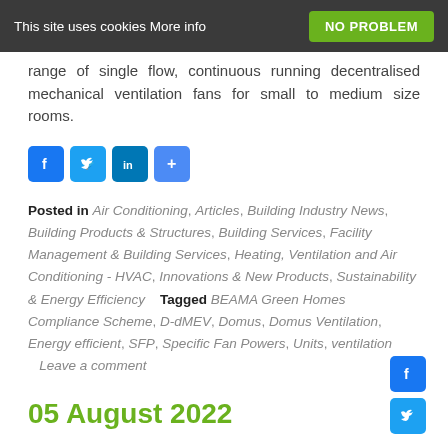This site uses cookies More info | NO PROBLEM
range of single flow, continuous running decentralised mechanical ventilation fans for small to medium size rooms.
[Figure (other): Social share buttons: Facebook, Twitter, LinkedIn, Share]
Posted in Air Conditioning, Articles, Building Industry News, Building Products & Structures, Building Services, Facility Management & Building Services, Heating, Ventilation and Air Conditioning - HVAC, Innovations & New Products, Sustainability & Energy Efficiency   Tagged BEAMA Green Homes Compliance Scheme, D-dMEV, Domus, Domus Ventilation, Energy efficient, SFP, Specific Fan Powers, Units, ventilation   Leave a comment
05 August 2022
[Figure (other): Social share icons: Facebook, Twitter on right side]